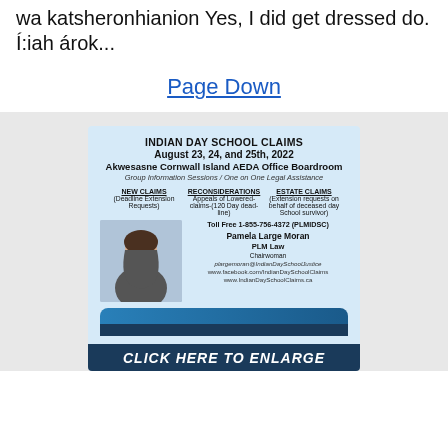wa katsheronhianion Yes, I did get dressed do. Í:iah árok...
Page Down
[Figure (illustration): Indian Day School Claims advertisement for August 23, 24, and 25th, 2022 at Akwesasne Cornwall Island AEDA Office Boardroom. Features Pamela Large Moran of PLM Law with photo of a woman. Includes information about New Claims, Reconsiderations, Estate Claims, toll free number 1-855-756-4372 (PLMIDSC), and websites www.facebook.com/IndianDaySchoolClaims and www.IndianDaySchoolClaims.ca]
CLICK HERE TO ENLARGE